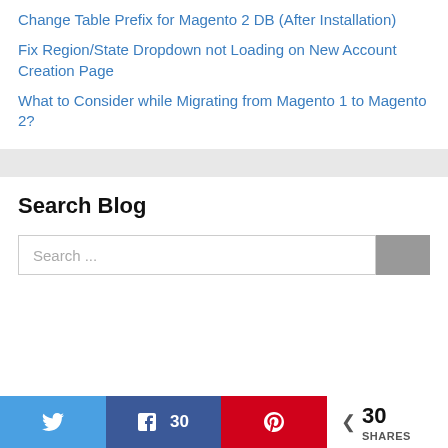Change Table Prefix for Magento 2 DB (After Installation)
Fix Region/State Dropdown not Loading on New Account Creation Page
What to Consider while Migrating from Magento 1 to Magento 2?
Search Blog
Search ...
30 SHARES